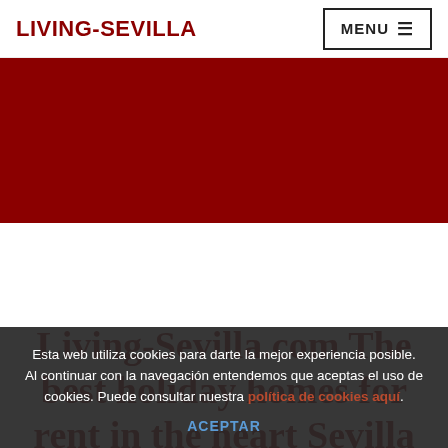LIVING-SEVILLA
[Figure (other): Dark red/maroon banner image area]
Living-Sevilla.com The best holiday homes for rent in the heart Sevilla
Esta web utiliza cookies para darte la mejor experiencia posible. Al continuar con la navegación entendemos que aceptas el uso de cookies. Puede consultar nuestra política de cookies aquí. ACEPTAR